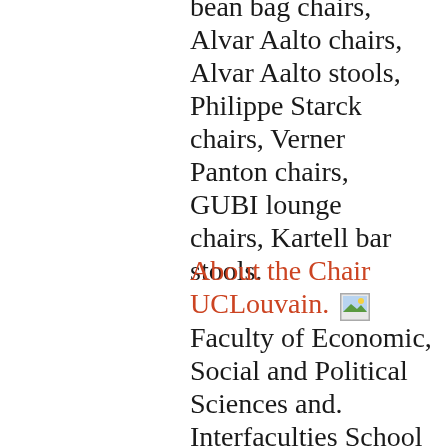bean bag chairs, Alvar Aalto chairs, Alvar Aalto stools, Philippe Starck chairs, Verner Panton chairs, GUBI lounge chairs, Kartell bar stools.
About the Chair UCLouvain. Faculty of Economic, Social and Political Sciences and. Interfaculties School in European studies.